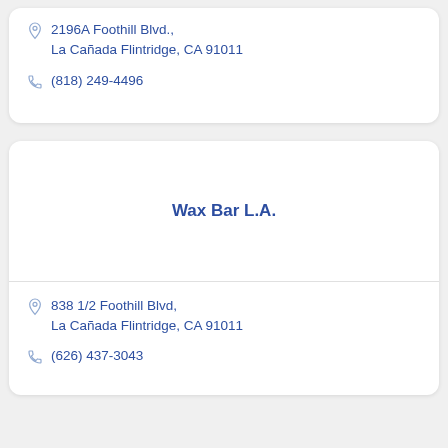2196A Foothill Blvd., La Cañada Flintridge, CA 91011
(818) 249-4496
Wax Bar L.A.
838 1/2 Foothill Blvd, La Cañada Flintridge, CA 91011
(626) 437-3043